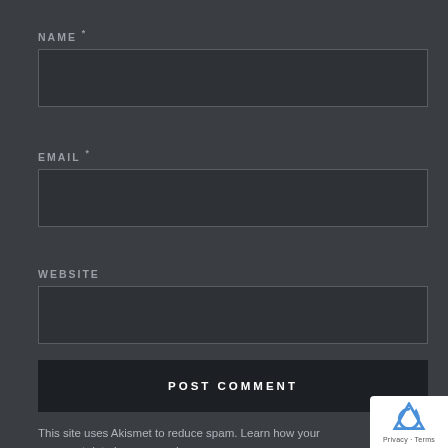NAME *
[Figure (other): Empty text input box for NAME field]
EMAIL *
[Figure (other): Empty text input box for EMAIL field]
WEBSITE
[Figure (other): Empty text input box for WEBSITE field]
[Figure (other): POST COMMENT button, dark background with white uppercase text]
This site uses Akismet to reduce spam. Learn how your comment data is processed.
[Figure (other): reCAPTCHA badge with logo, Privacy and Terms text]